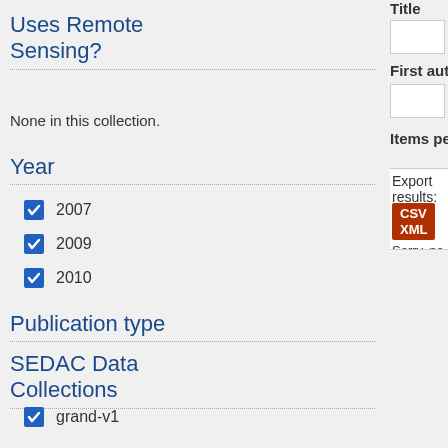Uses Remote Sensing?
None in this collection.
Year
2007
2009
2010
Publication type
SEDAC Data Collections
grand-v1
SEDAC Data Sets
Not attached to any collections
Title
Abstract
First author
Sort by
Items per page
Export results: CSV XML OR Export selected citations u... Sorry, no results – please reset or try a differe...